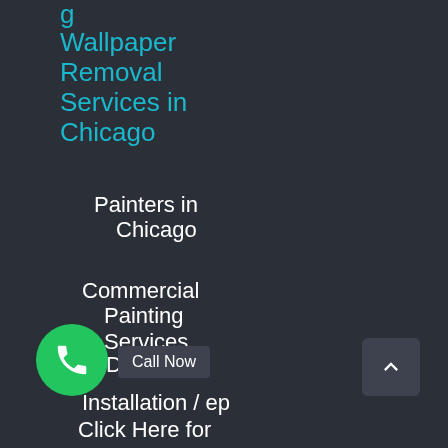Wallpaper Removal Services in Chicago
Painters in Chicago
Commercial Painting Services
Drywall Installation / Rep
Click Here for